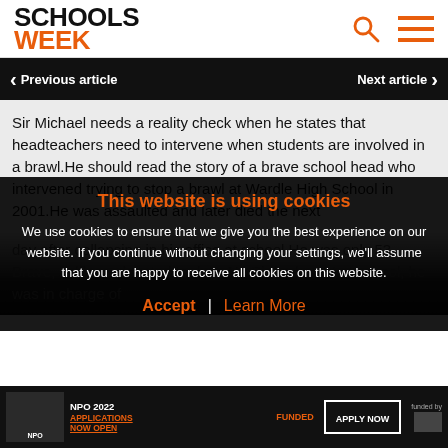[Figure (logo): Schools Week logo with SCHOOLS in black bold and WEEK in orange bold]
< Previous article   Next article >
Sir Michael needs a reality check when he states that headteachers need to intervene when students are involved in a brawl.He should read the story of a brave school head who intervened trying to stop a brawl at Wardle High School in 2001.He was assaulted and later died the next day after collapsing in his office at school.He was only 53. Brave, selfless, devoted to duty. No Sir broke out at school, he was in charge of
This website is using cookies
We use cookies to ensure that we give you the best experience on our website. If you continue without changing your settings, we'll assume that you are happy to receive all cookies on this website.
Accept / Learn More
[Figure (screenshot): NPO 2022 Applications Now Open, Funded, Apply Now advertisement banner]